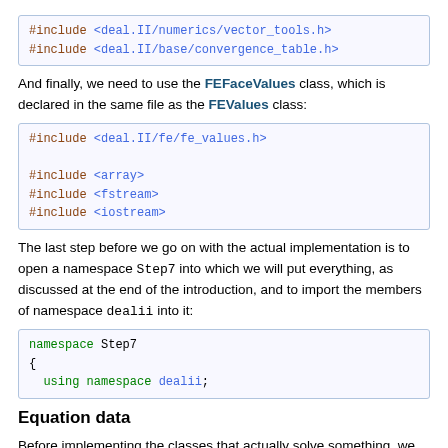[Figure (screenshot): Code block showing #include <deal.II/numerics/vector_tools.h> and #include <deal.II/base/convergence_table.h>]
And finally, we need to use the FEFaceValues class, which is declared in the same file as the FEValues class:
[Figure (screenshot): Code block showing #include <deal.II/fe/fe_values.h>, #include <array>, #include <fstream>, #include <iostream>]
The last step before we go on with the actual implementation is to open a namespace Step7 into which we will put everything, as discussed at the end of the introduction, and to import the members of namespace dealii into it:
[Figure (screenshot): Code block showing namespace Step7 { using namespace dealii; }]
Equation data
Before implementing the classes that actually solve something, we first declare and define some function classes that represent right hand side and solution classes. Since we want to compare the